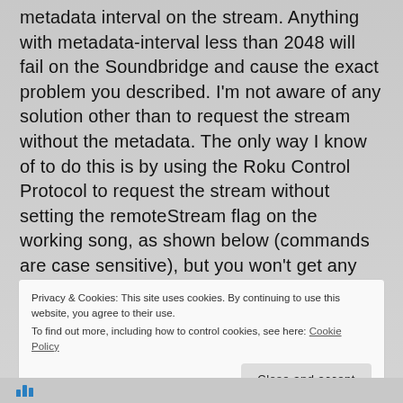metadata interval on the stream. Anything with metadata-interval less than 2048 will fail on the Soundbridge and cause the exact problem you described. I'm not aware of any solution other than to request the stream without the metadata. The only way I know of to do this is by using the Roku Control Protocol to request the stream without setting the remoteStream flag on the working song, as shown below (commands are case sensitive), but you won't get any track information displayed on your SoundBridge obviously. It will connect though. ClearWorkingSong
Privacy & Cookies: This site uses cookies. By continuing to use this website, you agree to their use.
To find out more, including how to control cookies, see here: Cookie Policy
Close and accept